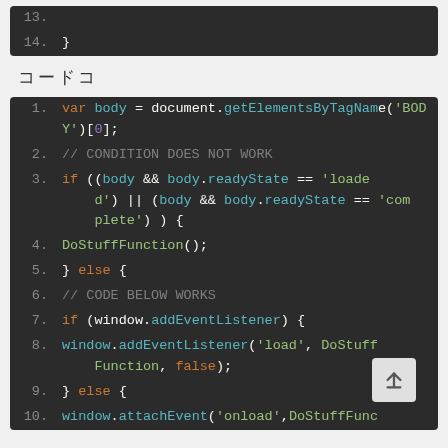[Figure (screenshot): Code block showing lines 13-14 with closing brace on dark background]
コードコ
[Figure (screenshot): JavaScript code block lines 1-10 showing body element retrieval, readyState condition check, addEventListener and attachEvent calls on dark background]